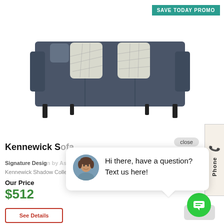SAVE TODAY PROMO
[Figure (photo): Dark gray sofa with decorative patterned throw pillows on a white background]
Kennewick Sofa
Signature Design
Kennewick Shadow Collection
Our Price
$512
See Details
close
Hi there, have a question? Text us here!